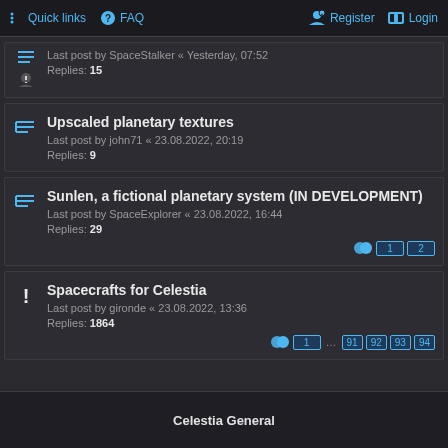Quick links  FAQ  Register  Login
Last post by SpaceStalker « Yesterday, 07:52
Replies: 15
Upscaled planetary textures
Last post by john71 « 23.08.2022, 20:19
Replies: 9
Sunlen, a fictional planetary system (IN DEVELOPMENT)
Last post by SpaceExplorer « 23.08.2022, 16:44
Replies: 29
Spacecrafts for Celestia
Last post by gironde « 23.08.2022, 13:36
Replies: 1864
Celestia General